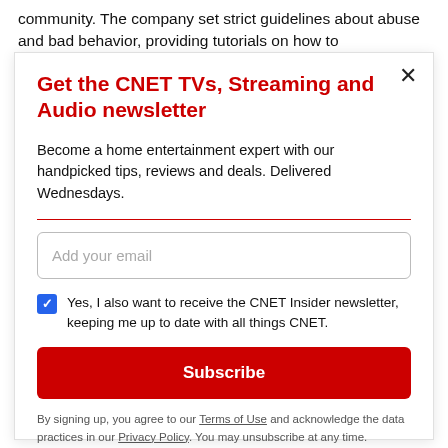community. The company set strict guidelines about abuse and bad behavior, providing tutorials on how to
Get the CNET TVs, Streaming and Audio newsletter
Become a home entertainment expert with our handpicked tips, reviews and deals. Delivered Wednesdays.
Add your email
Yes, I also want to receive the CNET Insider newsletter, keeping me up to date with all things CNET.
Subscribe
By signing up, you agree to our Terms of Use and acknowledge the data practices in our Privacy Policy. You may unsubscribe at any time.